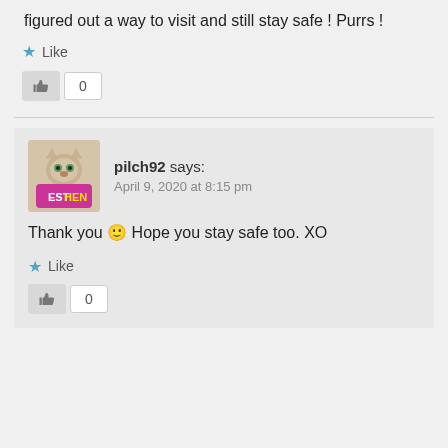figured out a way to visit and still stay safe ! Purrs !
Like
0
pilch92 says:
April 9, 2020 at 8:15 pm
Thank you 🙂 Hope you stay safe too. XO
Like
0